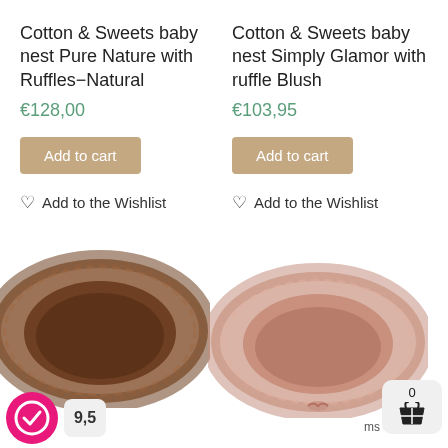Cotton & Sweets baby nest Pure Nature with Ruffles−Natural
€128,00
Add to cart
Add to the Wishlist
Cotton & Sweets baby nest Simply Glamor with ruffle Blush
€103,95
Add to cart
Add to the Wishlist
[Figure (photo): Brown baby nest with ruffled edge, oval shape, viewed from above at slight angle]
[Figure (photo): Blush/pink baby nest with ruffled edge, oval shape, viewed from above at slight angle]